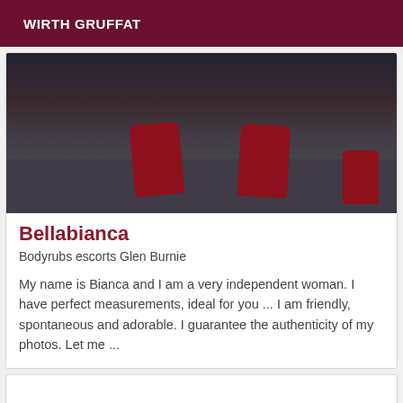WIRTH GRUFFAT
[Figure (photo): Photo showing feet and legs wearing red high-heeled shoes/sandals on a dark carpeted floor]
Bellabianca
Bodyrubs escorts Glen Burnie
My name is Bianca and I am a very independent woman. I have perfect measurements, ideal for you ... I am friendly, spontaneous and adorable. I guarantee the authenticity of my photos. Let me ...